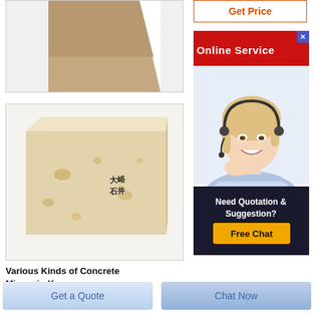[Figure (photo): Partial top view of a brick or refractory material with trapezoidal shape, brown/tan color, shown cropped at top of page]
[Figure (photo): A light tan/cream colored rectangular refractory brick with some brown spots and Chinese characters written on it in black ink]
Various Kinds of Concrete Mixers in Kenya
[Figure (infographic): Online Service banner with red background and customer service representative photo]
Need Quotation & Suggestion? Free Chat
Get a Quote
Chat Now